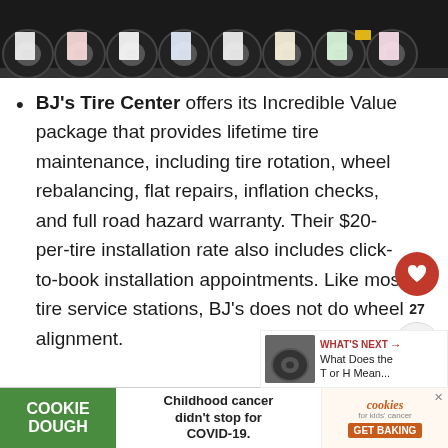[Figure (photo): A row of tires on a shelf viewed from below/front, with colorful labels attached to each tire. Dark background.]
BJ's Tire Center offers its Incredible Value package that provides lifetime tire maintenance, including tire rotation, wheel rebalancing, flat repairs, inflation checks, and full road hazard warranty. Their $20-per-tire installation rate also includes click-to-book installation appointments. Like most tire service stations, BJ's does not do wheel alignment.
Canadian Tire has a nationwide warranty
[Figure (screenshot): Advertisement banner: Cookie Dough brand ad. Left green section says COOKIE DOUGH. Middle says 'Childhood cancer didn't stop for COVID-19.' Right section shows cookies brand for kids' cancer with GET BAKING button.]